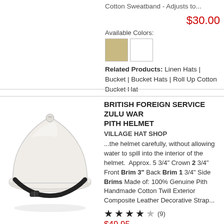Cotton Sweatband - Adjusts to...
$30.00
Available Colors:
[Figure (other): Two color swatches: tan/khaki and white]
Related Products: Linen Hats | Bucket | Bucket Hats | Roll Up Cotton Bucket Hat
[Figure (photo): White British Foreign Service Zulu War Pith Helmet with black decorative leather strap]
BRITISH FOREIGN SERVICE ZULU WAR PITH HELMET
VILLAGE HAT SHOP
...the helmet carefully, without allowing water to spill into the interior of the helmet. Approx. 5 3/4" Crown 2 3/4" Front Brim 3" Back Brim 1 3/4" Side Brims Made of: 100% Genuine Pith Handmade Cotton Twill Exterior Composite Leather Decorative Strap...
★★★★☆ (9)
$49.95